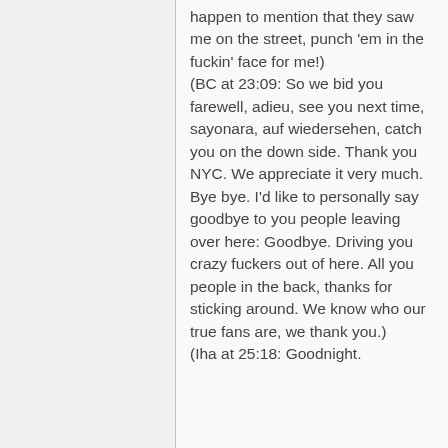happen to mention that they saw me on the street, punch 'em in the fuckin' face for me!) (BC at 23:09: So we bid you farewell, adieu, see you next time, sayonara, auf wiedersehen, catch you on the down side. Thank you NYC. We appreciate it very much. Bye bye. I'd like to personally say goodbye to you people leaving over here: Goodbye. Driving you crazy fuckers out of here. All you people in the back, thanks for sticking around. We know who our true fans are, we thank you.) (Iha at 25:18: Goodnight.